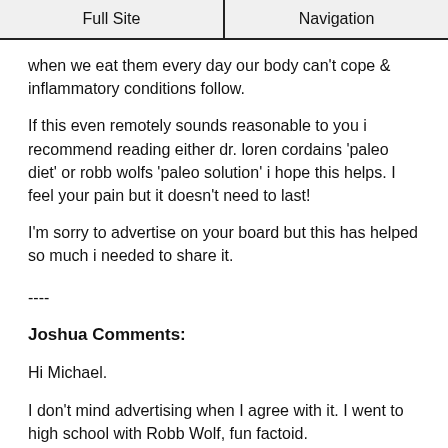Full Site | Navigation
when we eat them every day our body can't cope & inflammatory conditions follow.
If this even remotely sounds reasonable to you i recommend reading either dr. loren cordains 'paleo diet' or robb wolfs 'paleo solution' i hope this helps. I feel your pain but it doesn't need to last!
I'm sorry to advertise on your board but this has helped so much i needed to share it.
----
Joshua Comments:
Hi Michael.
I don't mind advertising when I agree with it. I went to high school with Robb Wolf, fun factoid.
While I'm not 100% onboard the paleo diet theory